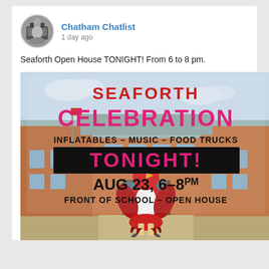Chatham Chatlist
Chatham Chatlist
1 day ago
Seaforth Open House TONIGHT! From 6 to 8 pm.
[Figure (photo): Event flyer showing Seaforth Celebration with inflatables, music, food trucks tonight Aug 23 6-8pm, front of school open house, with a school mascot standing in front of a brick school building]